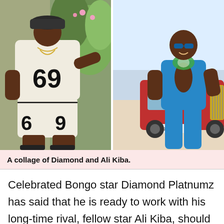[Figure (photo): A collage of two photos side by side: left photo shows Diamond Platnumz wearing a white outfit with '69' printed on it; right photo shows Ali Kiba in a blue outfit leaning against a red car.]
A collage of Diamond and Ali Kiba.
Celebrated Bongo star Diamond Platnumz has said that he is ready to work with his long-time rival, fellow star Ali Kiba, should an opportunity present itself.